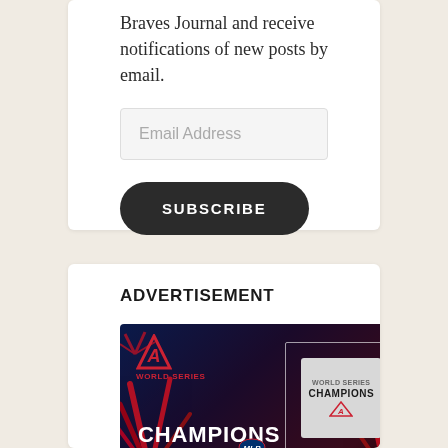Braves Journal and receive notifications of new posts by email.
Email Address
SUBSCRIBE
ADVERTISEMENT
[Figure (photo): Atlanta Braves World Series Champions advertisement showing the Braves logo, 'World Series Champions' text, MLB logo, and a Champions t-shirt on a dark background with red firework/palm leaf decorations.]